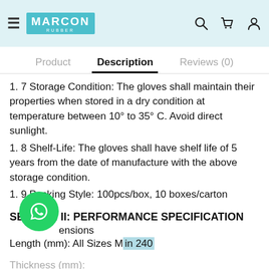MARCON RUBBER — Navigation header with logo, hamburger menu, search, cart, and user icons
Product   Description   Reviews (0)
1. 7 Storage Condition: The gloves shall maintain their properties when stored in a dry condition at temperature between 10° to 35° C. Avoid direct sunlight.
1. 8 Shelf-Life: The gloves shall have shelf life of 5 years from the date of manufacture with the above storage condition.
1. 9 Packing Style: 100pcs/box, 10 boxes/carton
SECTION II: PERFORMANCE SPECIFICATION
2.1 Dimensions
Length (mm): All Sizes Min 240
Thickness (mm):
Single wall Finger : Min 0.12